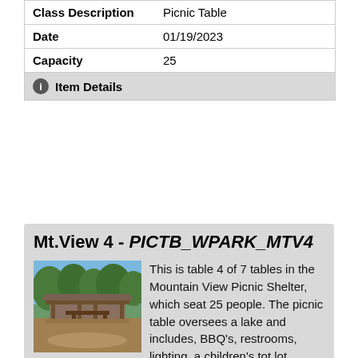| Class Description | Picnic Table |
| --- | --- |
| Date | 01/19/2023 |
| Capacity | 25 |
Item Details
Mt.View 4 - PICTB_WPARK_MTV4
[Figure (photo): Outdoor photo of the Mountain View Picnic Shelter with trees and a structure visible]
This is table 4 of 7 tables in the Mountain View Picnic Shelter, which seat 25 people. The picnic table oversees a lake and includes, BBQ's, restrooms, lighting, a children's tot lot, electrical outlets and a parking lot. For questions, contact the PARCS Office at 559 621-2900. WINTER HOURS: 7:00 am - 7:00 pm (Nov. 1 - March 9) No refunds will be given